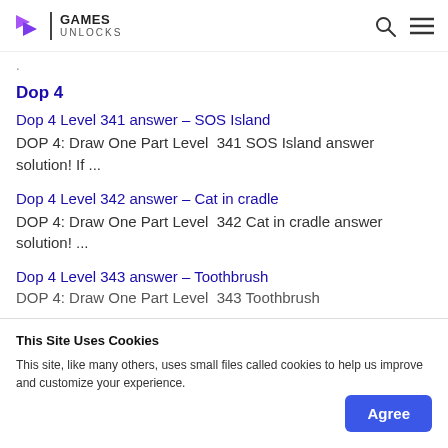GAMES UNLOCKS
. (partial/truncated text at top)
Dop 4
Dop 4 Level 341 answer – SOS Island
DOP 4: Draw One Part Level 341 SOS Island answer solution! If ...
Dop 4 Level 342 answer – Cat in cradle
DOP 4: Draw One Part Level 342 Cat in cradle answer solution! ...
Dop 4 Level 343 answer – Toothbrush
DOP 4: Draw One Part Level 343 Toothbrush
This Site Uses Cookies
This site, like many others, uses small files called cookies to help us improve and customize your experience.